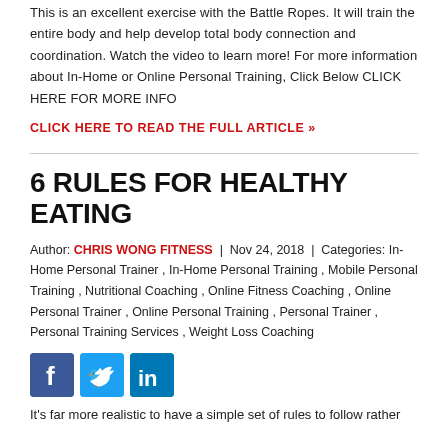This is an excellent exercise with the Battle Ropes. It will train the entire body and help develop total body connection and coordination. Watch the video to learn more! For more information about In-Home or Online Personal Training, Click Below CLICK HERE FOR MORE INFO
CLICK HERE TO READ THE FULL ARTICLE »
6 RULES FOR HEALTHY EATING
Author: CHRIS WONG FITNESS | Nov 24, 2018 | Categories: In-Home Personal Trainer , In-Home Personal Training , Mobile Personal Training , Nutritional Coaching , Online Fitness Coaching , Online Personal Trainer , Online Personal Training , Personal Trainer , Personal Training Services , Weight Loss Coaching
[Figure (infographic): Social media share icons: Facebook (blue), Twitter (light blue), LinkedIn (dark blue)]
It's far more realistic to have a simple set of rules to follow rather